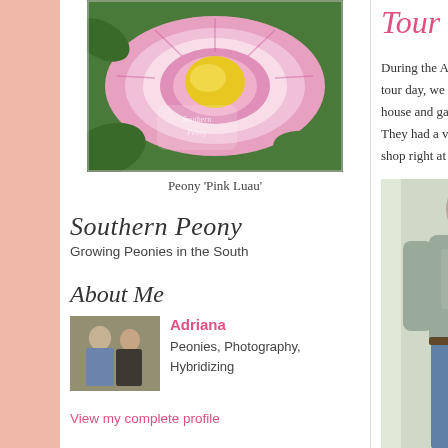[Figure (photo): Close-up photo of a peony flower 'Pink Luau' with pink and white petals and a yellow center, with Southern Peony watermark logo]
Peony 'Pink Luau'
Southern Peony
Growing Peonies in the South
About Me
[Figure (photo): Photo of two people (a man and a woman) at what appears to be an event or garden show]
Adriana
Peonies, Photography, Hybridizing
View my complete profile
Tour
During the Ame tour day, we wen house and garde They had a very shop right at thei
[Figure (photo): Photo of a person from behind, wearing a grey shirt and jeans]
Yew D